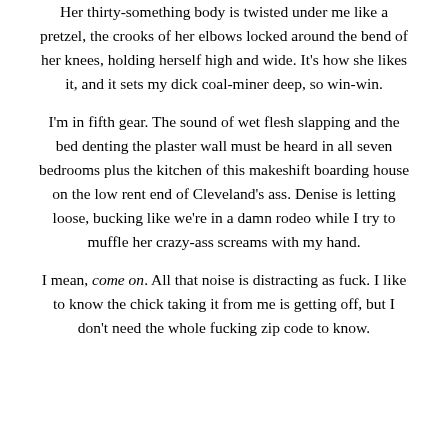Her thirty-something body is twisted under me like a pretzel, the crooks of her elbows locked around the bend of her knees, holding herself high and wide. It's how she likes it, and it sets my dick coal-miner deep, so win-win.
I'm in fifth gear. The sound of wet flesh slapping and the bed denting the plaster wall must be heard in all seven bedrooms plus the kitchen of this makeshift boarding house on the low rent end of Cleveland's ass. Denise is letting loose, bucking like we're in a damn rodeo while I try to muffle her crazy-ass screams with my hand.
I mean, come on. All that noise is distracting as fuck. I like to know the chick taking it from me is getting off, but I don't need the whole fucking zip code to know.